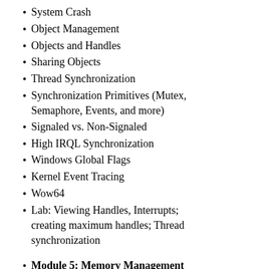System Crash
Object Management
Objects and Handles
Sharing Objects
Thread Synchronization
Synchronization Primitives (Mutex, Semaphore, Events, and more)
Signaled vs. Non-Signaled
High IRQL Synchronization
Windows Global Flags
Kernel Event Tracing
Wow64
Lab: Viewing Handles, Interrupts; creating maximum handles; Thread synchronization
Module 5: Memory Management
Overview
Small, large and huge pages